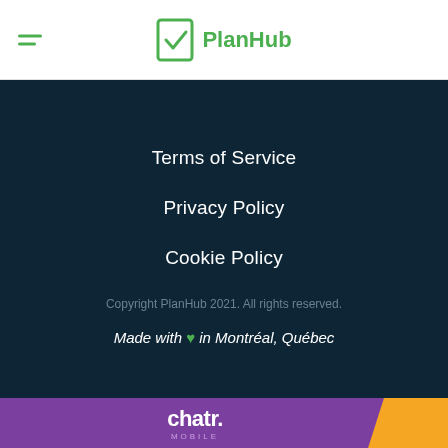PlanHub
Terms of Service
Privacy Policy
Cookie Policy
Copyright PlanHub 2021. All rights reserved.
Made with ♥ in Montréal, Québec
[Figure (other): Chatr Mobile advertisement banner with purple and orange background]